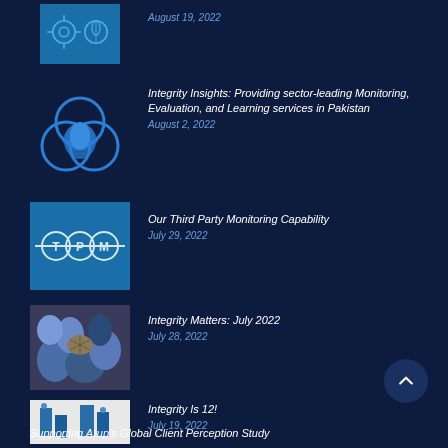[Figure (illustration): Thumbnail image with blue icons on dark background (top, partially visible)]
August 19, 2022
[Figure (illustration): Blue circular overlapping shapes logo on dark background]
Integrity Insights: Providing sector-leading Monitoring, Evaluation, and Learning services in Pakistan
August 2, 2022
[Figure (logo): Blue square with TPM text and circular design]
Our Third Party Monitoring Capability
July 29, 2022
[Figure (photo): Photo of blue and grey stones/gems]
Integrity Matters: July 2022
July 28, 2022
[Figure (illustration): Illustration showing number 12 with small figures]
Integrity Is 12!
July 19, 2022
Supporting Arup's Global Client Perception Study